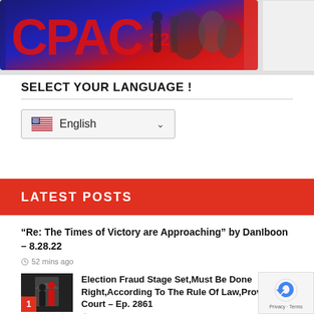[Figure (photo): CPAC 22 event stage photo with red and blue background, speakers on stage. Partial second image box visible on right.]
SELECT YOUR LANGUAGE !
[Figure (screenshot): Language selector dropdown showing US flag and 'English' with dropdown chevron]
LATEST POSTS
“Re: The Times of Victory are Approaching” by DanIboon – 8.28.22
52 mins ago
[Figure (photo): Thumbnail image of two people at a formal event, red carpet, with red badge numbered 1]
Election Fraud Stage Set,Must Be Done Right,According To The Rule Of Law,Proven In Court – Ep. 2861
1 hour ago